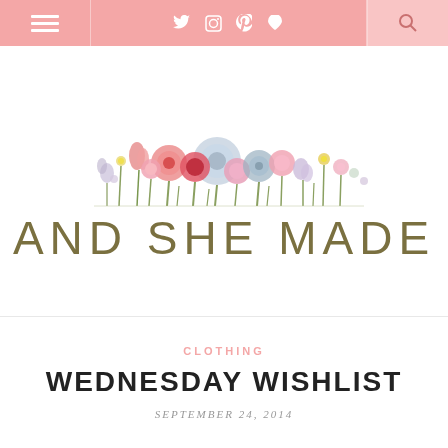Navigation bar with menu, social icons, and search
[Figure (logo): AND SHE MADE blog logo with illustrated floral arrangement above the text]
CLOTHING
WEDNESDAY WISHLIST
SEPTEMBER 24, 2014